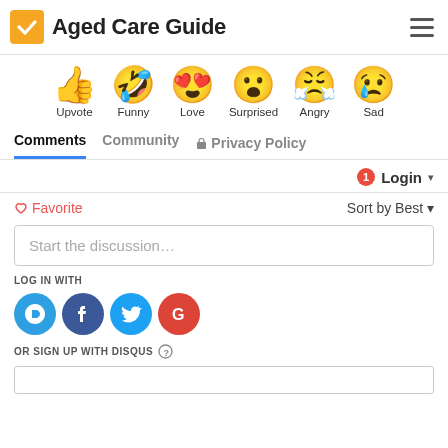Aged Care Guide
[Figure (illustration): Row of reaction emojis: Upvote (thumbs up), Funny (tongue out laughing), Love (heart eyes), Surprised (shocked face), Angry (crying angry face), Sad (crying sad face)]
Comments  Community  Privacy Policy
Login ▾
♡ Favorite   Sort by Best ▾
Start the discussion…
LOG IN WITH
[Figure (logo): Social login icons: Disqus (D), Facebook (f), Twitter bird, Google (G)]
OR SIGN UP WITH DISQUS ?